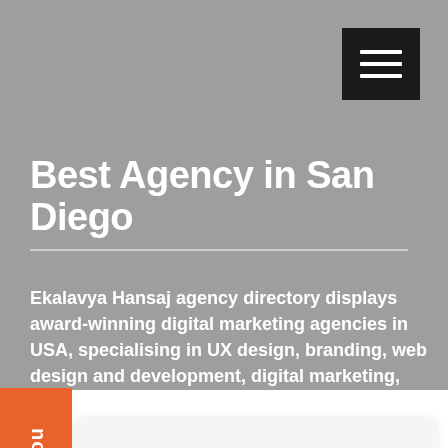[Figure (screenshot): Navigation hamburger menu button — dark/black square with three white horizontal lines]
Best Agency in San Diego
Ekalavya Hansaj agency directory displays award-winning digital marketing agencies in USA, specialising in UX design, branding, web design and development, digital marketing, social media marketing and mobile app development services.
This Could Be You